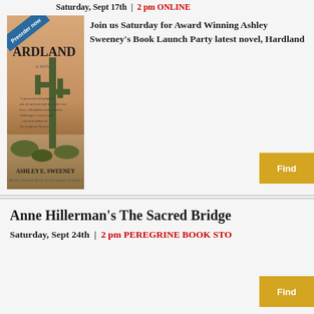Saturday, Sept 17th | 2 pm ONLINE
Join us Saturday for Award Winning Ashley Sweeney's Book Launch Party latest novel, Hardland
[Figure (photo): Book cover of Hardland by Ashley E. Sweeney, A Novel, with a cactus desert scene and a 'Preorder now' banner]
Anne Hillerman's The Sacred Bridge
Saturday, Sept 24th | 2 pm PEREGRINE BOOK STORE